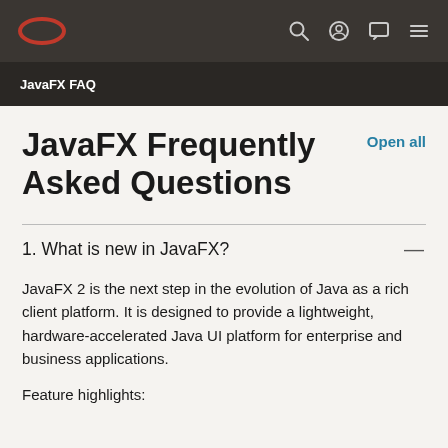JavaFX FAQ
JavaFX Frequently Asked Questions
1. What is new in JavaFX?
JavaFX 2 is the next step in the evolution of Java as a rich client platform. It is designed to provide a lightweight, hardware-accelerated Java UI platform for enterprise and business applications.
Feature highlights: